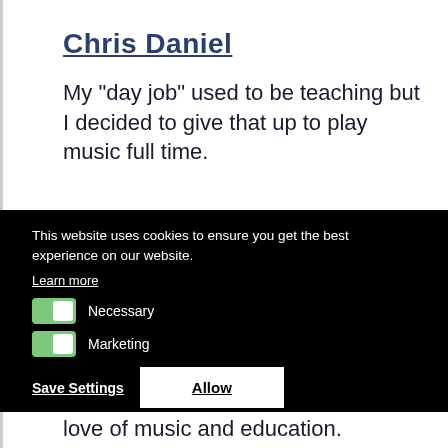Chris Daniel
My "day job" used to be teaching but I decided to give that up to play music full time.
This website uses cookies to ensure you get the best experience on our website.
Learn more
Necessary
Marketing
Save Settings  Allow
love of music and education.